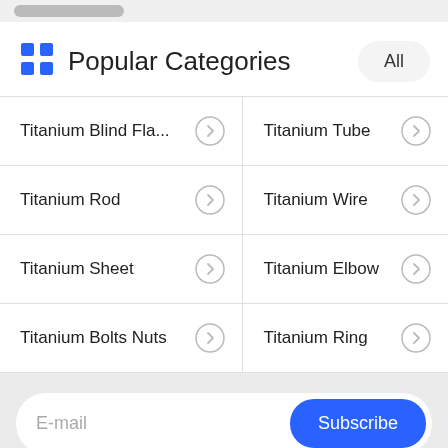Popular Categories
Titanium Blind Fla...
Titanium Tube
Titanium Rod
Titanium Wire
Titanium Sheet
Titanium Elbow
Titanium Bolts Nuts
Titanium Ring
E-mail
Subscribe